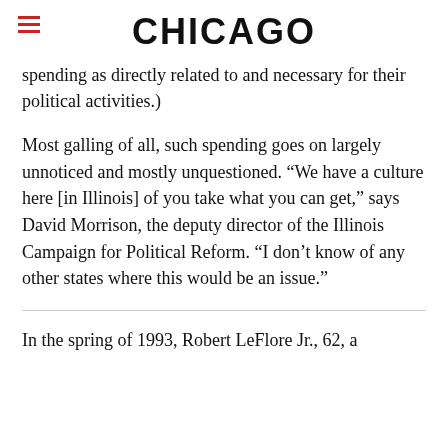CHICAGO
spending as directly related to and necessary for their political activities.)
Most galling of all, such spending goes on largely unnoticed and mostly unquestioned. “We have a culture here [in Illinois] of you take what you can get,” says David Morrison, the deputy director of the Illinois Campaign for Political Reform. “I don’t know of any other states where this would be an issue.”
In the spring of 1993, Robert LeFlore Jr., 62, a